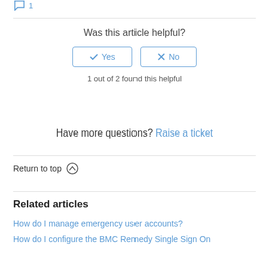Was this article helpful?
Yes  No
1 out of 2 found this helpful
Have more questions? Raise a ticket
Return to top
Related articles
How do I manage emergency user accounts?
How do I configure the BMC Remedy Single Sign On